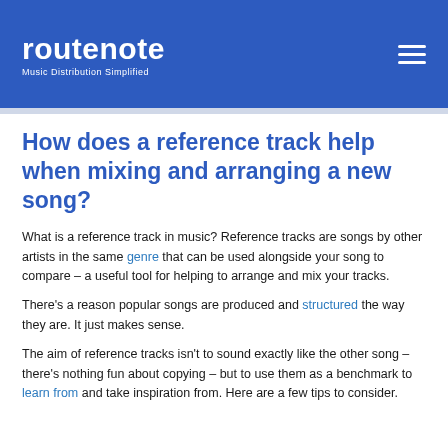RouteNote — Music Distribution Simplified
How does a reference track help when mixing and arranging a new song?
What is a reference track in music? Reference tracks are songs by other artists in the same genre that can be used alongside your song to compare – a useful tool for helping to arrange and mix your tracks.
There's a reason popular songs are produced and structured the way they are. It just makes sense.
The aim of reference tracks isn't to sound exactly like the other song – there's nothing fun about copying – but to use them as a benchmark to learn from and take inspiration from. Here are a few tips to consider.